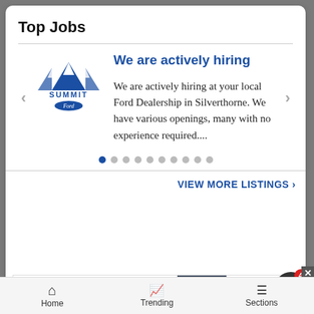Top Jobs
[Figure (logo): Summit Ford dealership logo with mountain peaks graphic and Ford oval badge]
We are actively hiring
We are actively hiring at your local Ford Dealership in Silverthorne. We have various openings, many with no experience required....
[Figure (other): Bloomingdales advertisement banner: 'bloomingdales View Today's Top Deals!' with woman wearing hat and 'SHOP NOW >' button]
Home   Trending   Sections